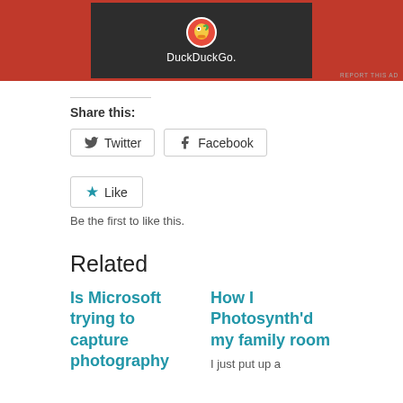[Figure (screenshot): DuckDuckGo advertisement banner showing the DuckDuckGo logo and name on a dark background with orange/red border]
REPORT THIS AD
Share this:
Twitter  Facebook
Like
Be the first to like this.
Related
Is Microsoft trying to capture photography market?
How I Photosynth'd my family room
I just put up a